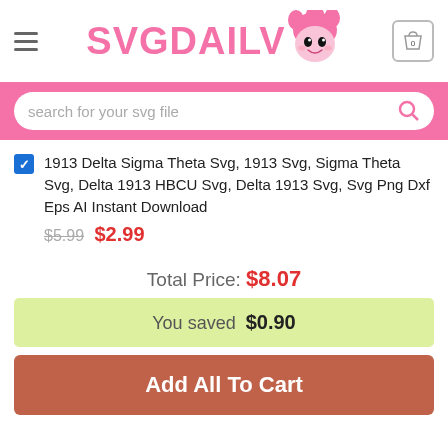[Figure (logo): SVGDAILY logo with pink text and pink mascot character head]
search for your svg file
1913 Delta Sigma Theta Svg, 1913 Svg, Sigma Theta Svg, Delta 1913 HBCU Svg, Delta 1913 Svg, Svg Png Dxf Eps AI Instant Download
$5.99  $2.99
Total Price: $8.07
You saved  $0.90
Add All To Cart